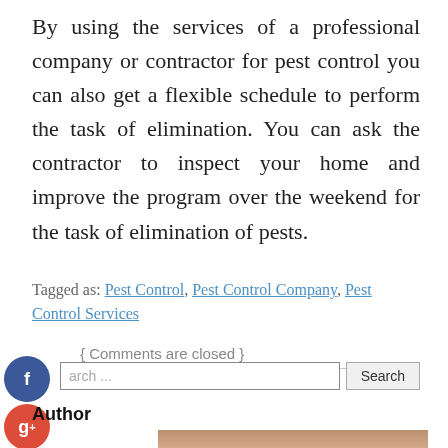By using the services of a professional company or contractor for pest control you can also get a flexible schedule to perform the task of elimination. You can ask the contractor to inspect your home and improve the program over the weekend for the task of elimination of pests.
Tagged as: Pest Control, Pest Control Company, Pest Control Services
{ Comments are closed }
Search ...
Author
[Figure (photo): Author photo partially visible at bottom of page]